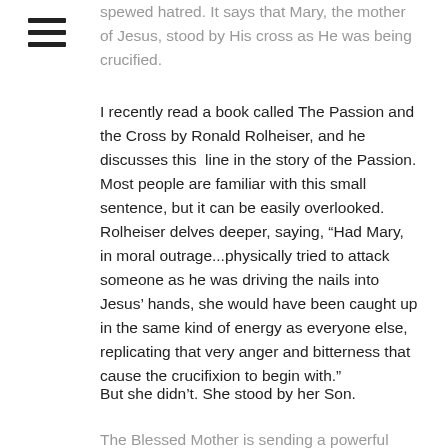spewed hatred. It says that Mary, the mother of Jesus, stood by His cross as He was being crucified.
I recently read a book called The Passion and the Cross by Ronald Rolheiser, and he discusses this  line in the story of the Passion. Most people are familiar with this small sentence, but it can be easily overlooked. Rolheiser delves deeper, saying, “Had Mary, in moral outrage...physically tried to attack someone as he was driving the nails into Jesus’ hands, she would have been caught up in the same kind of energy as everyone else, replicating that very anger and bitterness that cause the crucifixion to begin with.”
But she didn’t. She stood by her Son.
The Blessed Mother is sending a powerful